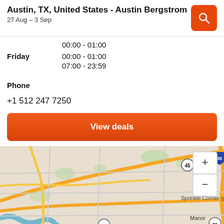Austin, TX, United States - Austin Bergstrom
27 Aug – 3 Sep
00:00 - 01:00
Friday  00:00 - 01:00
07:00 - 23:59
Phone
+1 512 247 7250
View deals
[Figure (map): Street map of Austin, TX area showing roads, highway I-35, route 45, route 290, Sprinkle Corner label, Manor label, and map zoom controls (+/-).]